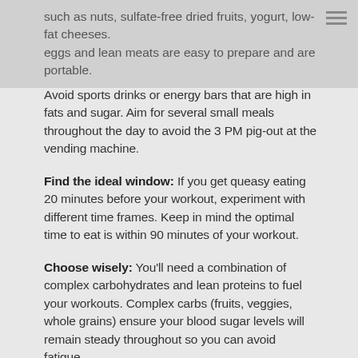such as nuts, sulfate-free dried fruits, yogurt, low-fat cheeses. eggs and lean meats are easy to prepare and are portable.
Avoid sports drinks or energy bars that are high in fats and sugar. Aim for several small meals throughout the day to avoid the 3 PM pig-out at the vending machine.
Find the ideal window: If you get queasy eating 20 minutes before your workout, experiment with different time frames. Keep in mind the optimal time to eat is within 90 minutes of your workout.
Choose wisely: You'll need a combination of complex carbohydrates and lean proteins to fuel your workouts. Complex carbs (fruits, veggies, whole grains) ensure your blood sugar levels will remain steady throughout so you can avoid fatigue.
Lean proteins fuel your working muscles and prevent mid-workout hunger pangs. Experiment to find out which foods sit best with you.